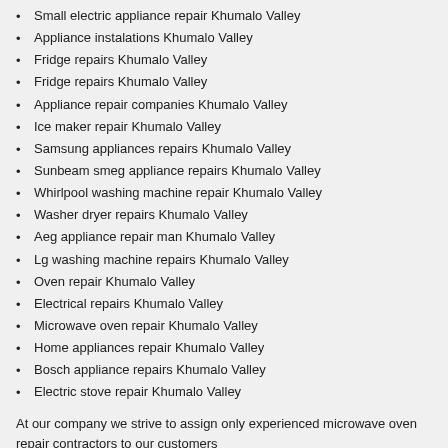Small electric appliance repair Khumalo Valley
Appliance instalations Khumalo Valley
Fridge repairs Khumalo Valley
Fridge repairs Khumalo Valley
Appliance repair companies Khumalo Valley
Ice maker repair Khumalo Valley
Samsung appliances repairs Khumalo Valley
Sunbeam smeg appliance repairs Khumalo Valley
Whirlpool washing machine repair Khumalo Valley
Washer dryer repairs Khumalo Valley
Aeg appliance repair man Khumalo Valley
Lg washing machine repairs Khumalo Valley
Oven repair Khumalo Valley
Electrical repairs Khumalo Valley
Microwave oven repair Khumalo Valley
Home appliances repair Khumalo Valley
Bosch appliance repairs Khumalo Valley
Electric stove repair Khumalo Valley
At our company we strive to assign only experienced microwave oven repair contractors to our customers
We guarantee the best services and complete devotion to the task at hand, exceeding all expectation and providing a service unlike any other
We are the best Fridge repairs company in Khumalo Valley so give us a call at: 010 880 2781 today!